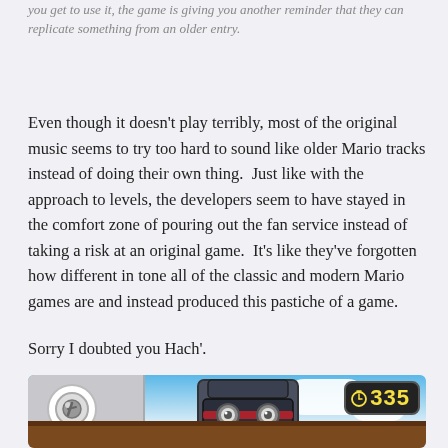you get to use it, the game is giving you another reminder that they can replicate something from an older entry.
Even though it doesn't play terribly, most of the original music seems to try too hard to sound like older Mario tracks instead of doing their own thing.  Just like with the approach to levels, the developers seem to have stayed in the comfort zone of pouring out the fan service instead of taking a risk at an original game.  It's like they've forgotten how different in tone all of the classic and modern Mario games are and instead produced this pastiche of a game.
Sorry I doubted you Hach'.
[Figure (screenshot): Screenshot from a Mario game showing a robot/Goomboss-like enemy in a sky level with clouds, a ledge at the bottom, a grey panel on the left with a bolt/ring, and a timer showing 335 in the top-right corner.]